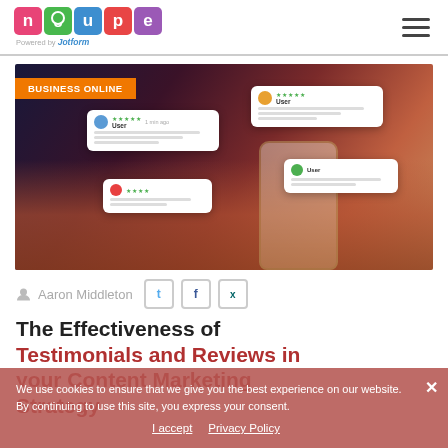[Figure (logo): Noupe logo with colorful letter blocks and 'Powered by Jotform' text below]
[Figure (photo): Person holding a smartphone with floating user review/testimonial cards above it, dark moody background with purple and red tones. Orange badge reads BUSINESS ONLINE.]
Aaron Middleton
The Effectiveness of Testimonials and Reviews in your Content Marketing Strategy